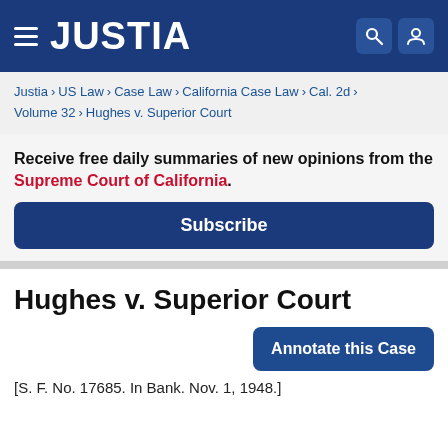JUSTIA
Justia › US Law › Case Law › California Case Law › Cal. 2d › Volume 32 › Hughes v. Superior Court
Receive free daily summaries of new opinions from the Supreme Court of California.
Subscribe
Hughes v. Superior Court
Annotate this Case
[S. F. No. 17685. In Bank. Nov. 1, 1948.]